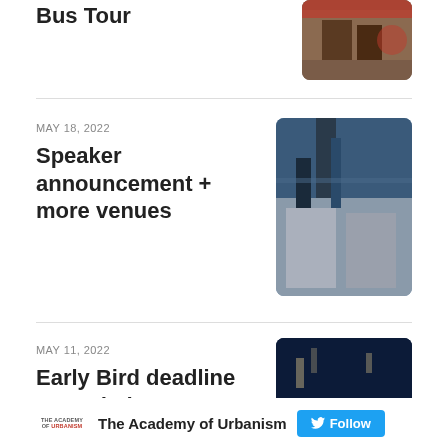Belfast UNESCO City of Music Bus Tour
MAY 18, 2022
Speaker announcement + more venues
MAY 11, 2022
Early Bird deadline extended
The Academy of Urbanism  Follow